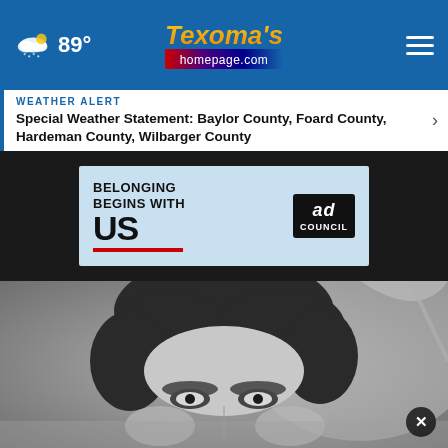89° | Texoma's homepage.com
WEATHER ALERT
Special Weather Statement: Baylor County, Foard County, Hardeman County, Wilbarger County
[Figure (photo): Advertisement banner: BELONGING BEGINS WITH US - Ad Council]
[Figure (photo): Black and white close-up photo of a person's face (eyes and forehead visible)]
[Figure (photo): Bottom advertisement: For the best reviews, go to BESTREVIEWS - Go Now button]